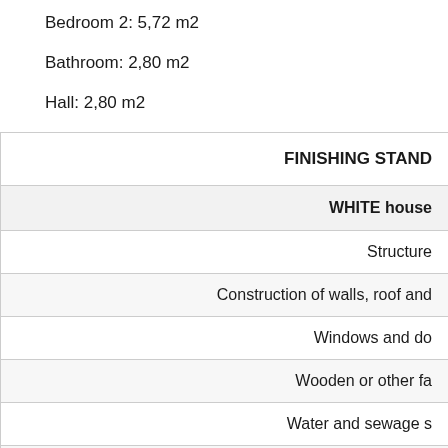Bedroom 2: 5,72 m2
Bathroom: 2,80 m2
Hall: 2,80 m2
| FINISHING STAND... |
| --- |
| WHITE house... |
| Structure |
| Construction of walls, roof and... |
| Windows and do... |
| Wooden or other fa... |
| Water and sewage s... |
|  |